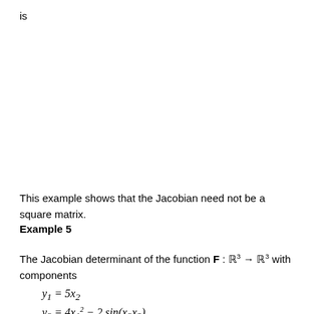is
This example shows that the Jacobian need not be a square matrix.
Example 5
The Jacobian determinant of the function F : ℝ³ → ℝ³ with components